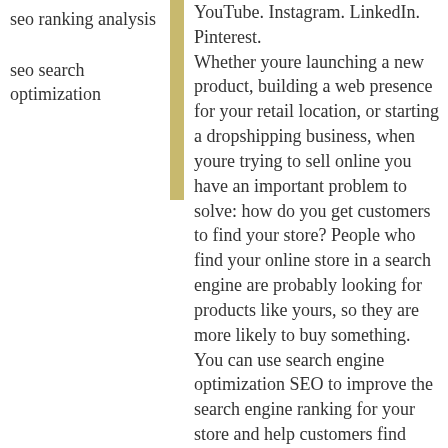seo ranking analysis
seo search optimization
YouTube. Instagram. LinkedIn. Pinterest.
Whether youre launching a new product, building a web presence for your retail location, or starting a dropshipping business, when youre trying to sell online you have an important problem to solve: how do you get customers to find your store? People who find your online store in a search engine are probably looking for products like yours, so they are more likely to buy something. You can use search engine optimization SEO to improve the search engine ranking for your store and help customers find your products. In this section. Adding keywords for SEO to your Shopify store. Optimizing your site structure for search engines. Finding and submitting your sitemap. Hiding a page from search engines. Frequently asked